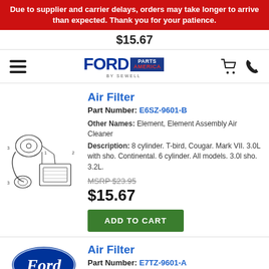Due to supplier and carrier delays, orders may take longer to arrive than expected. Thank you for your patience.
$15.67
[Figure (logo): Ford Parts America by Sewell logo with hamburger menu, cart, and phone icons]
Air Filter
Part Number: E6SZ-9601-B
Other Names: Element, Element Assembly Air Cleaner
Description: 8 cylinder. T-bird, Cougar. Mark VII. 3.0L with sho. Continental. 6 cylinder. All models. 3.0l sho. 3.2L.
MSRP $23.95
$15.67
[Figure (illustration): Technical diagram of air filter assembly with numbered parts]
Air Filter
Part Number: E7TZ-9601-A